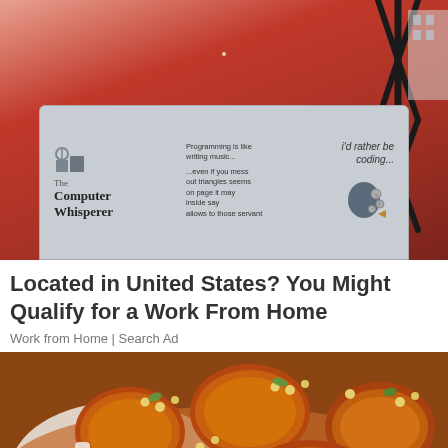[Figure (photo): Woman in red dress holding a laptop with 'The Computer Whisperer' branding stickers, standing on a balcony]
Located in United States? You Might Qualify for a Work From Home
Work from Home | Search Ad
[Figure (photo): Close-up of cooked chicken pieces garnished with chopped peanuts and fresh herbs on a white dish]